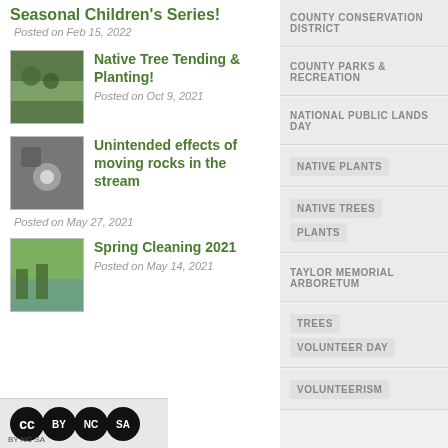Seasonal Children's Series!
Posted on Feb 15, 2022
Native Tree Tending & Planting!
Posted on Oct 9, 2021
Unintended effects of moving rocks in the stream
Posted on May 27, 2021
Spring Cleaning 2021
Posted on May 14, 2021
COUNTY CONSERVATION DISTRICT
COUNTY PARKS & RECREATION
NATIONAL PUBLIC LANDS DAY
NATIVE PLANTS
NATIVE TREES
PLANTS
TAYLOR MEMORIAL ARBORETUM
TREES
VOLUNTEER DAY
VOLUNTEERISM
CC BY NC SA